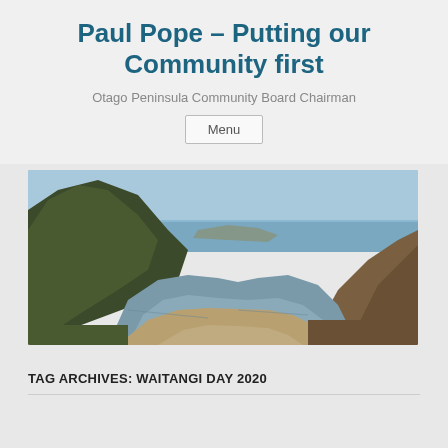Paul Pope – Putting our Community first
Otago Peninsula Community Board Chairman
Menu
[Figure (photo): Panoramic coastal landscape photo showing a river estuary or inlet with green hills on the left, sandy shores, and the sea in the background under a blue sky.]
TAG ARCHIVES: WAITANGI DAY 2020